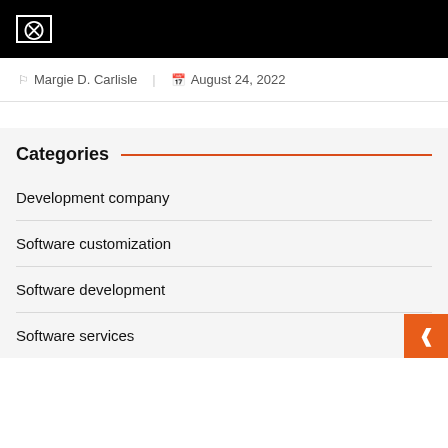[]
Margie D. Carlisle   August 24, 2022
Categories
Development company
Software customization
Software development
Software services